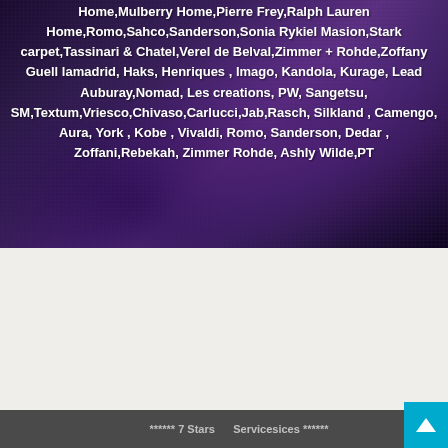[Figure (photo): Dark purple/violet fabric or textile close-up photograph, serving as hero background image with overlaid white bold text listing brand names]
Home,Mulberry Home,Pierre Frey,Ralph Lauren Home,Romo,Sahco,Sanderson,Sonia Rykiel Masion,Stark carpet,Tassinari & Chatel,Verel de Belval,Zimmer + Rohde,Zoffany Guell lamadrid, Haks, Henriques , Imago, Kandola, Kurage, Lead Auburay,Nomad, Les creations, PW, Sangetsu, SM,Textum,Vriesco,Chivaso,Carlucci,Jab,Rasch, Silkland , Camengo, Aura, York , Kobe , Vivaldi, Romo, Sanderson, Dedar , Zoffani,Rebekah, Zimmer Rohde, Ashly Wilde,PT
****** 7 Stars        Servicesices ******